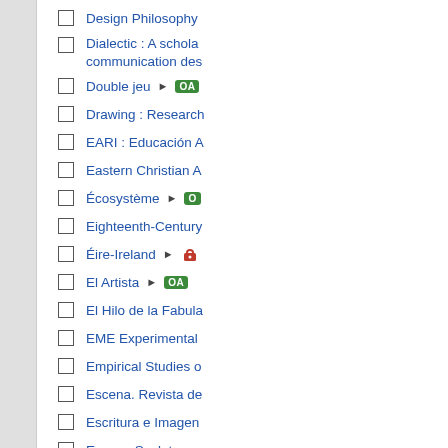Design Philosophy
Dialectic : A schola... communication des...
Double jeu ▶ OA
Drawing : Research...
EARI : Educación A...
Eastern Christian A...
Écosystème ▶ O...
Eighteenth-Century...
Éire-Ireland ▶ 🔒
El Artista ▶ OA
El Hilo de la Fabula...
EME Experimental...
Empirical Studies o...
Escena. Revista de...
Escritura e Imagen...
Espace Sculpture
Essais ▶ OA
esse arts + opinion...
ETC MEDIA ▶ ...